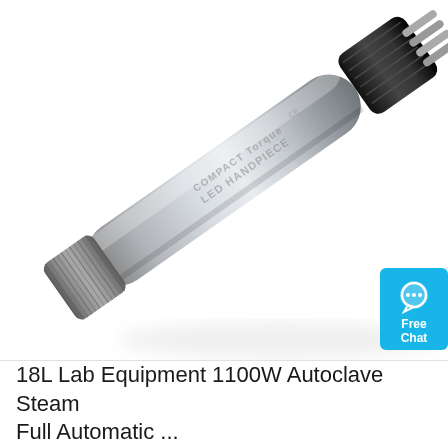[Figure (photo): Close-up photo of a silver dental LED handpiece labeled 'COMPACT Torque LED HANDPIECE' with CE marking, showing the cylindrical metal body with knurled grip sections and a black chuck/connector at the top right. A blue 'Free Chat' badge is overlaid in the top right corner.]
18L Lab Equipment 1100W Autoclave Steam Full Automatic ...